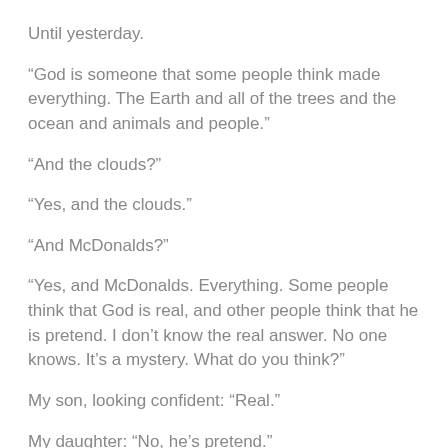Until yesterday.
“God is someone that some people think made everything. The Earth and all of the trees and the ocean and animals and people.”
“And the clouds?”
“Yes, and the clouds.”
“And McDonalds?”
“Yes, and McDonalds. Everything. Some people think that God is real, and other people think that he is pretend. I don’t know the real answer. No one knows. It’s a mystery. What do you think?”
My son, looking confident: “Real.”
My daughter: “No, he’s pretend.”